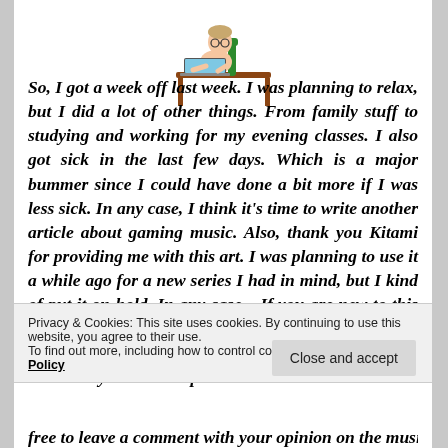[Figure (illustration): Cartoon illustration of a person sitting at a desk working on a laptop computer]
So, I got a week off last week. I was planning to relax, but I did a lot of other things. From family stuff to studying and working for my evening classes. I also got sick in the last few days. Which is a major bummer since I could have done a bit more if I was less sick. In any case, I think it’s time to write another article about gaming music. Also, thank you Kitami for providing me with this art. I was planning to use it a while ago for a new series I had in mind, but I kind of put it on hold. In any case… If you are new to this series of mine, I listen a lot to game music. It keeps me focused at work and it can cheer me up when I’m down. I try to avoid duplicates
Privacy & Cookies: This site uses cookies. By continuing to use this website, you agree to their use.
To find out more, including how to control cookies, see here: Cookie Policy
Close and accept
free to leave a comment with your opinion on the music and